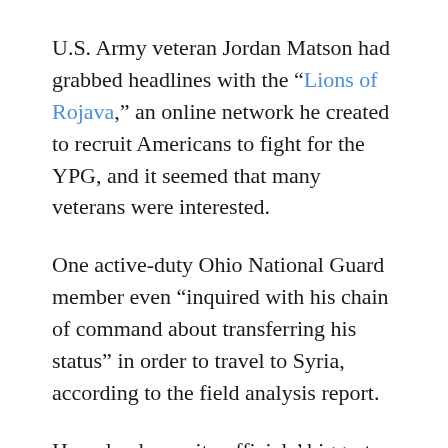U.S. Army veteran Jordan Matson had grabbed headlines with the “Lions of Rojava,” an online network he created to recruit Americans to fight for the YPG, and it seemed that many veterans were interested.
One active-duty Ohio National Guard member even “inquired with his chain of command about transferring his status” in order to travel to Syria, according to the field analysis report.
Homeland security officials’ biggest worry was that some of these American volunteers might actually be trying to join ISIS.
And he said Homeland Security Intelli...